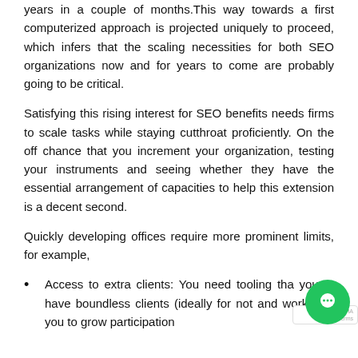years in a couple of months.This way towards a first computerized approach is projected uniquely to proceed, which infers that the scaling necessities for both SEO organizations now and for years to come are probably going to be critical.
Satisfying this rising interest for SEO benefits needs firms to scale tasks while staying cutthroat proficiently. On the off chance that you increment your organization, testing your instruments and seeing whether they have the essential arrangement of capacities to help this extension is a decent second.
Quickly developing offices require more prominent limits, for example,
Access to extra clients: You need tooling that you to have boundless clients (ideally for noth and work with you to grow participation